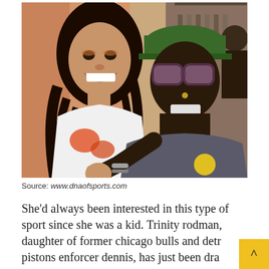[Figure (photo): Two people smiling and laughing together in a selfie-style photo outdoors. A young woman with curly hair on the left wearing a white shirt, and a person wearing sunglasses and a green cap on the right wearing a grey t-shirt.]
Source: www.dnaofsports.com
She’d always been interested in this type of sport since she was a kid. Trinity rodman, daughter of former chicago bulls and detroit pistons enforcer dennis, has just been drafted into the national women's soccer league